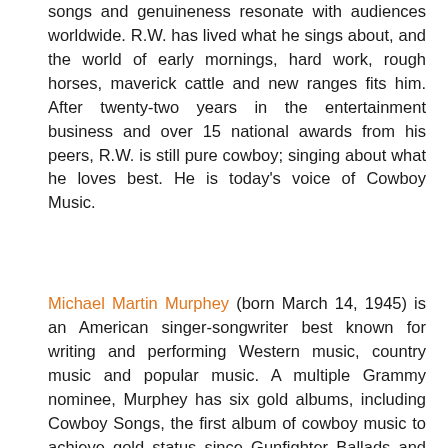songs and genuineness resonate with audiences worldwide. R.W. has lived what he sings about, and the world of early mornings, hard work, rough horses, maverick cattle and new ranges fits him. After twenty-two years in the entertainment business and over 15 national awards from his peers, R.W. is still pure cowboy; singing about what he loves best. He is today's voice of Cowboy Music.
Michael Martin Murphey (born March 14, 1945) is an American singer-songwriter best known for writing and performing Western music, country music and popular music. A multiple Grammy nominee, Murphey has six gold albums, including Cowboy Songs, the first album of cowboy music to achieve gold status since Gunfighter Ballads and Trail Songs by Marty Robbins in 1959. He has